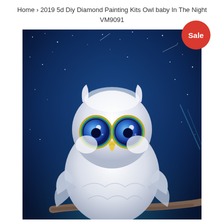Home › 2019 5d Diy Diamond Painting Kits Owl baby In The Night VM9091
[Figure (illustration): Digital illustration of a cute baby owl with large blue galaxy-like eyes, white fluffy feathers, sitting on a branch against a dark starry blue night sky background. A red circular 'Sale' badge is overlaid in the top-right corner of the image.]